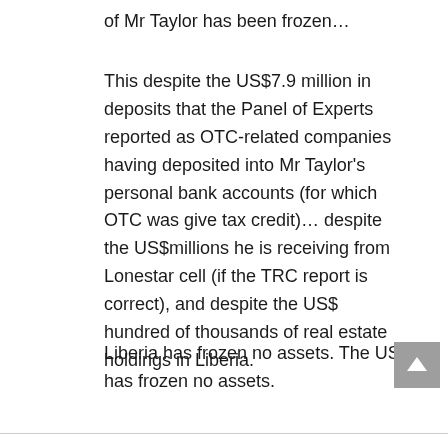of Mr Taylor has been frozen…
This despite the US$7.9 million in deposits that the Panel of Experts reported as OTC-related companies having deposited into Mr Taylor's personal bank accounts (for which OTC was give tax credit)… despite the US$millions he is receiving from Lonestar cell (if the TRC report is correct), and despite the US$ hundred of thousands of real estate holdings in Liberia.
Liberia has frozen no assets. The US has frozen no assets.